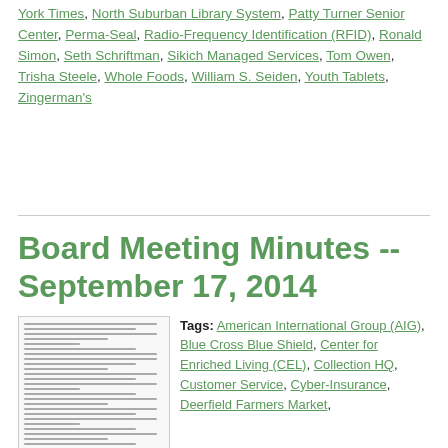York Times, North Suburban Library System, Patty Turner Senior Center, Perma-Seal, Radio-Frequency Identification (RFID), Ronald Simon, Seth Schriftman, Sikich Managed Services, Tom Owen, Trisha Steele, Whole Foods, William S. Seiden, Youth Tablets, Zingerman's
Board Meeting Minutes -- September 17, 2014
[Figure (other): Thumbnail preview of a document page showing board meeting minutes text]
Tags: American International Group (AIG), Blue Cross Blue Shield, Center for Enriched Living (CEL), Collection HQ, Customer Service, Cyber-Insurance, Deerfield Farmers Market, Deerfield Fine Arts Commission Public Art Program, Deerfield Fine Arts Commission Public Art Show,